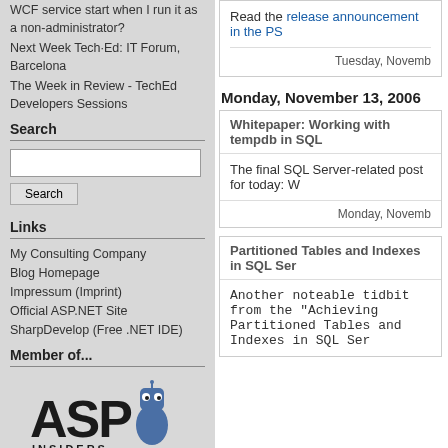WCF service start when I run it as a non-administrator?
Next Week Tech·Ed: IT Forum, Barcelona
The Week in Review - TechEd Developers Sessions
Search
Links
My Consulting Company
Blog Homepage
Impressum (Imprint)
Official ASP.NET Site
SharpDevelop (Free .NET IDE)
Member of...
[Figure (logo): ASP Insiders logo]
Read the release announcement in the PS
Tuesday, November
Monday, November 13, 2006
Whitepaper: Working with tempdb in SQL
The final SQL Server-related post for today: W
Monday, Novemb
Partitioned Tables and Indexes in SQL Ser
Another noteable tidbit from the "Achieving... Partitioned Tables and Indexes in SQL Ser